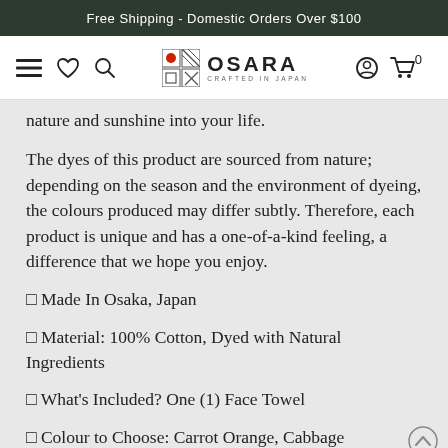Free Shipping - Domestic Orders Over $100
[Figure (screenshot): Osara website navigation bar with menu, heart, search icons on left; Osara Crafted in Japan logo in center; user account and cart icons on right]
nature and sunshine into your life.
The dyes of this product are sourced from nature; depending on the season and the environment of dyeing, the colours produced may differ subtly. Therefore, each product is unique and has a one-of-a-kind feeling, a difference that we hope you enjoy.
✿ Made In Osaka, Japan
✿ Material: 100% Cotton, Dyed with Natural Ingredients
✿ What's Included? One (1) Face Towel
✿ Colour to Choose: Carrot Orange, Cabbage